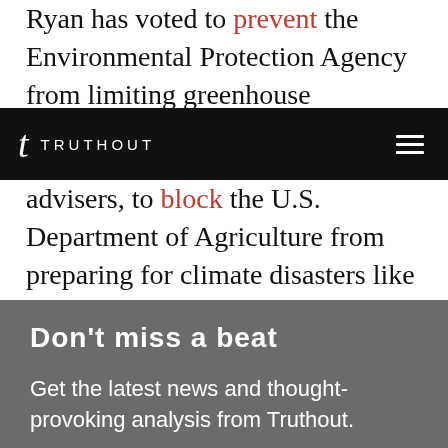Ryan has voted to prevent the Environmental Protection Agency from limiting greenhouse
[Figure (screenshot): Truthout website navigation bar with logo (stylized 't' and TRUTHOUT wordmark) on black background with hamburger menu icon on the right]
advisers, to block the U.S. Department of Agriculture from preparing for climate disasters like the drought devastating his home state, and to eliminate the Department of Energy Advanced Research Projects Agency (ARPA-E):
Don't miss a beat
Get the latest news and thought-provoking analysis from Truthout.